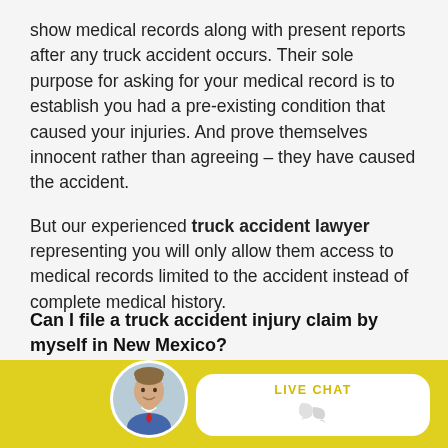show medical records along with present reports after any truck accident occurs. Their sole purpose for asking for your medical record is to establish you had a pre-existing condition that caused your injuries. And prove themselves innocent rather than agreeing – they have caused the accident.
But our experienced truck accident lawyer representing you will only allow them access to medical records limited to the accident instead of complete medical history.
Can I file a truck accident injury claim by myself in New Mexico?
[Figure (photo): Circular portrait photo of a man in a suit, displayed in a circular avatar frame over a yellow bottom bar. Next to it is a white chat bubble with 'LIVE CHAT' text and a chat icon.]